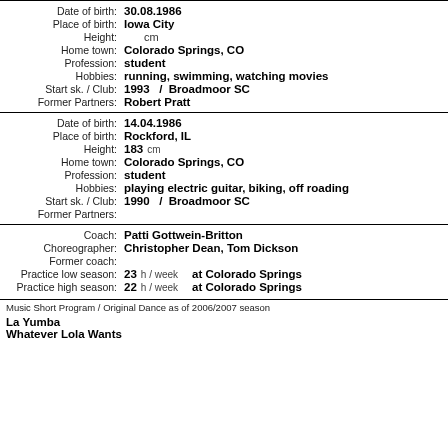| Date of birth: | 30.08.1986 |
| Place of birth: | Iowa City |
| Height: | cm |
| Home town: | Colorado Springs, CO |
| Profession: | student |
| Hobbies: | running, swimming, watching movies |
| Start sk. / Club: | 1993   /   Broadmoor SC |
| Former Partners: | Robert Pratt |
| Date of birth: | 14.04.1986 |
| Place of birth: | Rockford, IL |
| Height: | 183  cm |
| Home town: | Colorado Springs, CO |
| Profession: | student |
| Hobbies: | playing electric guitar, biking, off roading |
| Start sk. / Club: | 1990   /   Broadmoor SC |
| Former Partners: |  |
| Coach: | Patti Gottwein-Britton |
| Choreographer: | Christopher Dean, Tom Dickson |
| Former coach: |  |
| Practice low season: | 23   h / week   at Colorado Springs |
| Practice high season: | 22   h / week   at Colorado Springs |
Music Short Program / Original Dance as of 2006/2007 season
La Yumba
Whatever Lola Wants